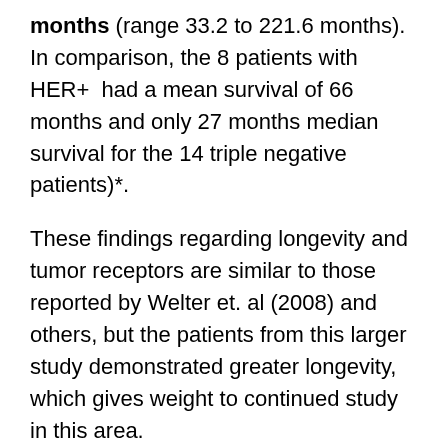months (range 33.2 to 221.6 months).  In comparison, the 8 patients with HER+  had a mean survival of 66 months and only 27 months median survival for the 14 triple negative patients)*.
These findings regarding longevity and tumor receptors are similar to those reported by Welter et. al (2008) and others, but the patients from this larger study demonstrated greater longevity, which gives weight to continued study in this area.
In Meimarakis' work, the presence of pleural infiltration or lymphangiosis carcinomatosis denoted a reduced longevity (32.1 and 34.5 months).  This may serve as a better marker of systemic disease for future classification and